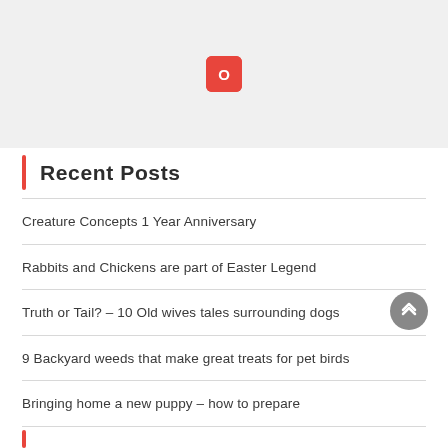[Figure (logo): Red rounded square icon with white 'O' letter on gray background banner]
Recent Posts
Creature Concepts 1 Year Anniversary
Rabbits and Chickens are part of Easter Legend
Truth or Tail? – 10 Old wives tales surrounding dogs
9 Backyard weeds that make great treats for pet birds
Bringing home a new puppy – how to prepare